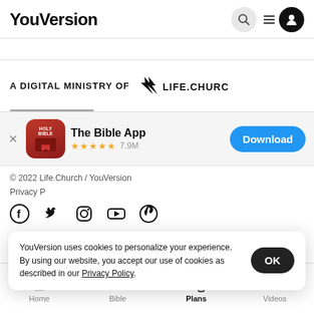YouVersion
A DIGITAL MINISTRY OF LIFE.CHURCH
[Figure (screenshot): App store banner for The Bible App: red icon with HOLY BIBLE text, 5 stars, 7.9M ratings, Download button]
© 2022 Life.Church / YouVersion
Privacy P...
YouVersion uses cookies to personalize your experience. By using our website, you accept our use of cookies as described in our Privacy Policy.
[Figure (screenshot): Social media icons: Facebook, Twitter, Instagram, YouTube, Pinterest]
Home  Bible  Plans  Videos — bottom navigation bar